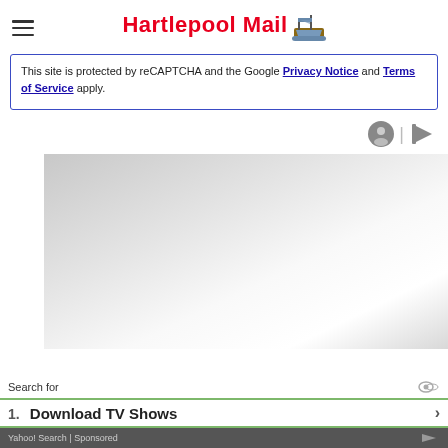Hartlepool Mail
This site is protected by reCAPTCHA and the Google Privacy Notice and Terms of Service apply.
[Figure (other): Gray gradient advertisement or image block placeholder]
Search for
1. Download TV Shows
Yahoo! Search | Sponsored